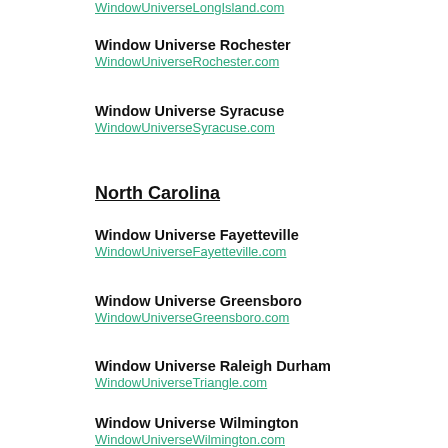Window Universe Long Island
WindowUniverseLongIsland.com
Window Universe Rochester
WindowUniverseRochester.com
Window Universe Syracuse
WindowUniverseSyracuse.com
North Carolina
Window Universe Fayetteville
WindowUniverseFayetteville.com
Window Universe Greensboro
WindowUniverseGreensboro.com
Window Universe Raleigh Durham
WindowUniverseTriangle.com
Window Universe Wilmington
WindowUniverseWilmington.com